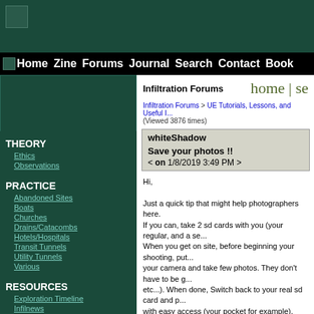[Figure (other): Top banner with dark teal background and small image icon]
Home Zine Forums Journal Search Contact Book
[Figure (other): Left sidebar box with small image icon]
Infiltration Forums   home | se
Infiltration Forums > UE Tutorials, Lessons, and Useful I...
(Viewed 3876 times)
THEORY
Ethics
Observations
PRACTICE
Abandoned Sites
Boats
Churches
Drains/Catacombs
Hotels/Hospitals
Transit Tunnels
Utility Tunnels
Various
RESOURCES
Exploration Timeline
Infilnews
Infilspeak Dictionary
Usufruct Blog
Worldwide Links
whiteShadow
Save your photos !!
< on 1/8/2019 3:49 PM >
Hi,

Just a quick tip that might help photographers here.
If you can, take 2 sd cards with you (your regular, and a se...
When you get on site, before beginning your shooting, put...
your camera and take few photos. They don't have to be g...
etc...). When done, Switch back to your real sd card and p...
with easy access (your pocket for example).
If security comes, quickly switch back your sd card and hi...
not to lose it though).

If security ask you to delete photo, then do it, but it will onl...
they ask you to hand over the card, just do it. It will show c...
you get out of troubles.

Also, if security didn't come, still switch the card before le...